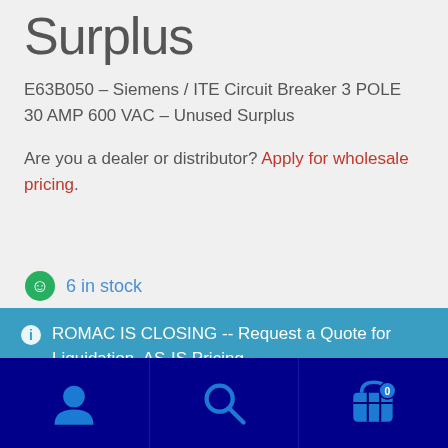Surplus
E63B050 – Siemens / ITE Circuit Breaker 3 POLE 30 AMP 600 VAC – Unused Surplus
Are you a dealer or distributor? Apply for wholesale pricing.
6 in stock
ROMAC IS CLOSING -- Request a Quote for Liquidation, AS-IS Pricing
Dismiss
[Figure (infographic): Bottom navigation bar with user account icon, search icon, and shopping cart icon with badge showing 0]